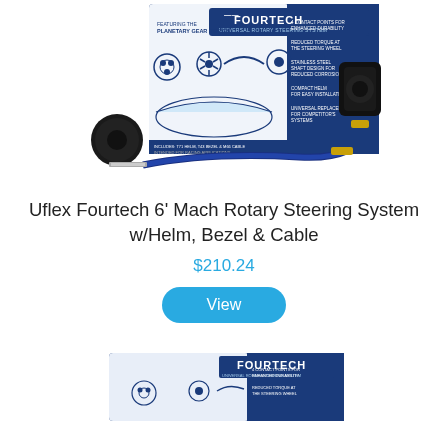[Figure (photo): Product photo of Uflex Fourtech Mach Rotary Steering System showing box with steering helm, bezel cap, and blue steering cable with connectors]
Uflex Fourtech 6' Mach Rotary Steering System w/Helm, Bezel & Cable
$210.24
View
[Figure (photo): Partial product photo of another Uflex Fourtech Mach Rotary Steering System box at bottom of page]